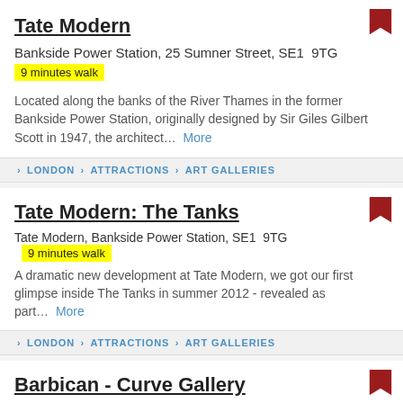Tate Modern
Bankside Power Station, 25 Sumner Street, SE1  9TG
9 minutes walk
Located along the banks of the River Thames in the former Bankside Power Station, originally designed by Sir Giles Gilbert Scott in 1947, the architect...  More
> LONDON > ATTRACTIONS > ART GALLERIES
Tate Modern: The Tanks
Tate Modern, Bankside Power Station, SE1  9TG   9 minutes walk
A dramatic new development at Tate Modern, we got our first glimpse inside The Tanks in summer 2012 - revealed as part...  More
> LONDON > ATTRACTIONS > ART GALLERIES
Barbican - Curve Gallery
Ground Level, Barbican Centre, Silk Street, City, EC2Y  8DS